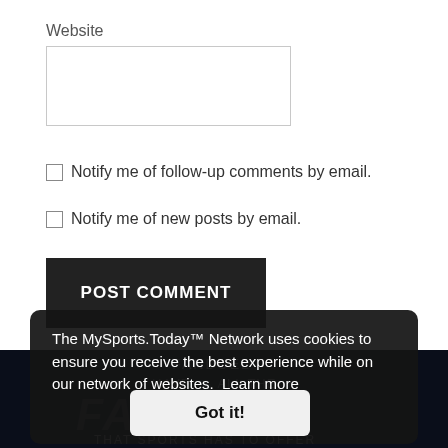Website
[Figure (screenshot): Empty website input text field]
Notify me of follow-up comments by email.
Notify me of new posts by email.
POST COMMENT
The MySports.Today™ Network uses cookies to ensure you receive the best experience while on our network of websites. Learn more
Got it!
[Figure (screenshot): FanDuel advertisement banner with FANTASY text and THAT SPORTS HAS TO OFFER text]